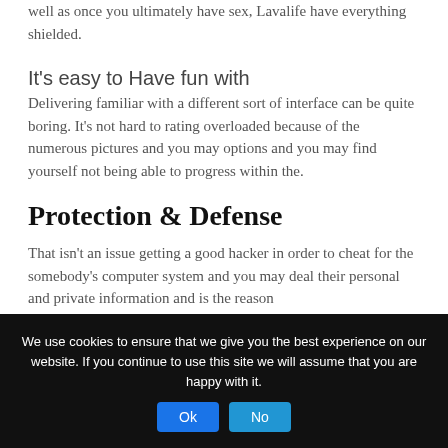well as once you ultimately have sex, Lavalife have everything shielded.
It's easy to Have fun with
Delivering familiar with a different sort of interface can be quite boring. It's not hard to rating overloaded because of the numerous pictures and you may options and you may find yourself not being able to progress within the.
Protection & Defense
That isn't an issue getting a good hacker in order to cheat for the somebody's computer system and you may deal their personal and private information and is the reason
We use cookies to ensure that we give you the best experience on our website. If you continue to use this site we will assume that you are happy with it.